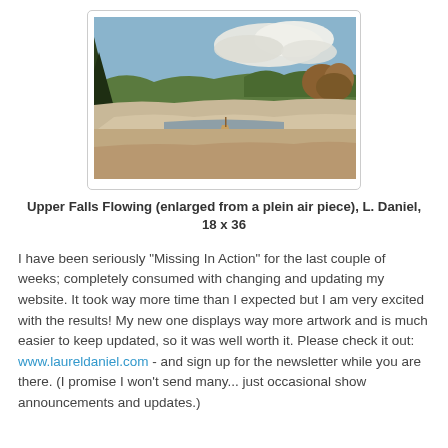[Figure (illustration): Oil painting of Upper Falls Flowing — a landscape with rocky foreground, water, trees, and cloudy sky, displayed in a light-bordered frame.]
Upper Falls Flowing (enlarged from a plein air piece), L. Daniel, 18 x 36
I have been seriously "Missing In Action" for the last couple of weeks; completely consumed with changing and updating my website. It took way more time than I expected but I am very excited with the results! My new one displays way more artwork and is much easier to keep updated, so it was well worth it. Please check it out: www.laureldaniel.com - and sign up for the newsletter while you are there. (I promise I won't send many... just occasional show announcements and updates.)